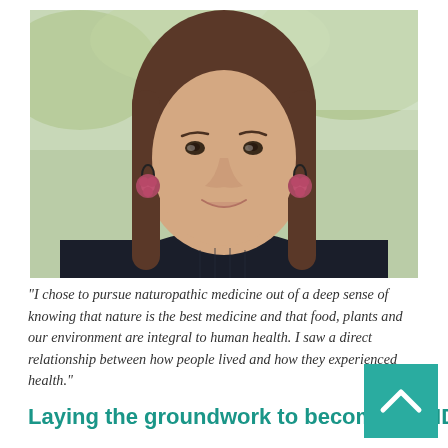[Figure (photo): Portrait photo of a woman with long straight dark hair, wearing pink floral earrings and a dark navy textured turtleneck sweater, smiling slightly, photographed outdoors with blurred green background]
“I chose to pursue naturopathic medicine out of a deep sense of knowing that nature is the best medicine and that food, plants and our environment are integral to human health. I saw a direct relationship between how people lived and how they experienced health.”
Laying the groundwork to become an ND